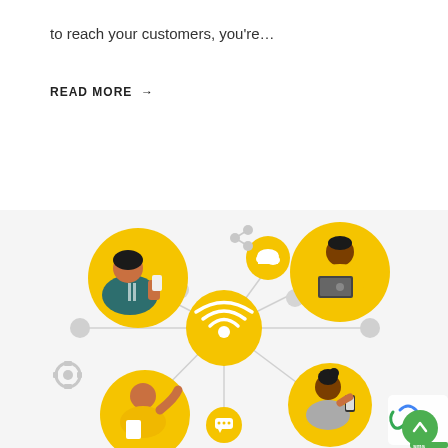to reach your customers, you're…
READ MORE →
[Figure (illustration): Network/connectivity illustration showing a central WiFi symbol connected to four people in yellow circles: a woman holding a phone (top-left), a man with a laptop (top-right), a man waving (bottom-left), and a woman holding a phone (bottom-right). Connected nodes include a cloud icon and a chat bubble icon. Gray gear and share icons appear as decorative elements in the background.]